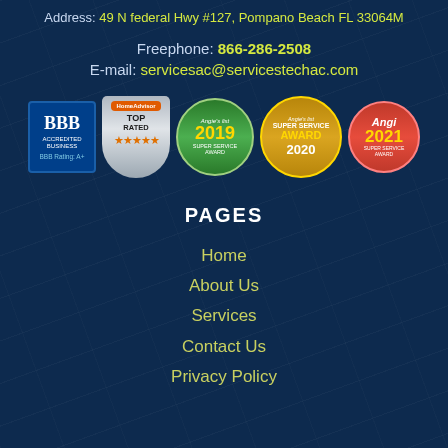Address: 49 N federal Hwy #127, Pompano Beach FL 33064M
Freephone: 866-286-2508
E-mail: servicesac@servicestechac.com
[Figure (logo): Row of certification badges: BBB Accredited Business A+, HomeAdvisor Top Rated, Angie's List 2019 Super Service Award, Angie's List Super Service Award 2020, Angi 2021 Super Service Award]
PAGES
Home
About Us
Services
Contact Us
Privacy Policy